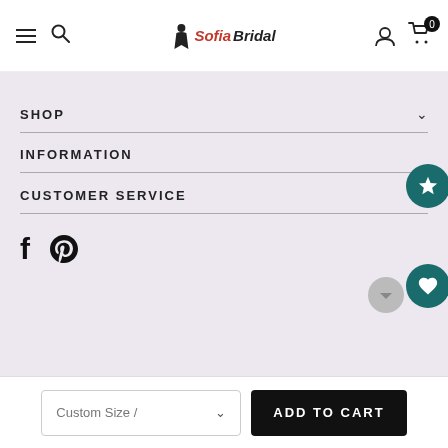SofiaBridal website header with hamburger menu, search, logo, user icon, and cart (0)
SHOP
INFORMATION
CUSTOMER SERVICE
Facebook, Pinterest social icons
Custom Size / dropdown | ADD TO CART button